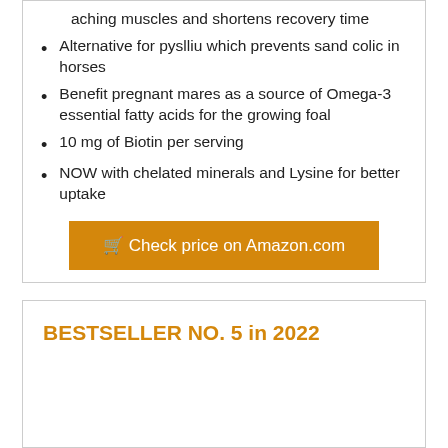aching muscles and shortens recovery time
Alternative for pyslliu which prevents sand colic in horses
Benefit pregnant mares as a source of Omega-3 essential fatty acids for the growing foal
10 mg of Biotin per serving
NOW with chelated minerals and Lysine for better uptake
🛒 Check price on Amazon.com
BESTSELLER NO. 5 in 2022